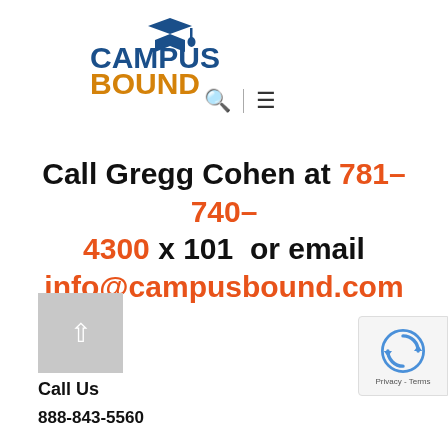[Figure (logo): Campus Bound logo with graduation cap icon. 'CAMPUS' in dark blue bold text, 'BOUND' in golden/orange bold text below.]
[Figure (infographic): Search icon (magnifying glass) and hamburger menu icon with vertical separator bar between them.]
Call Gregg Cohen at 781-740-4300 x 101 or email info@campusbound.com
[Figure (other): Gray square button with white upward arrow (back to top button)]
Call Us
888-843-5560
[Figure (other): reCAPTCHA badge with Google reCAPTCHA icon and Privacy - Terms text]